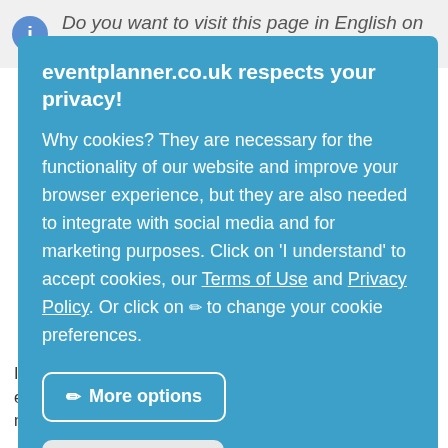Do you want to visit this page in English on our
eventplanner.co.uk respects your privacy!
Why cookies? They are necessary for the functionality of our website and improve your browser experience, but they are also needed to integrate with social media and for marketing purposes. Click on 'I understand' to accept cookies, our Terms of Use and Privacy Policy. Or click on ✏ to change your cookie preferences.
More options
Reject all
Accept all
If you were looking for an unusual meeting room with an exclusive setting and tasteful service, you have found it now!